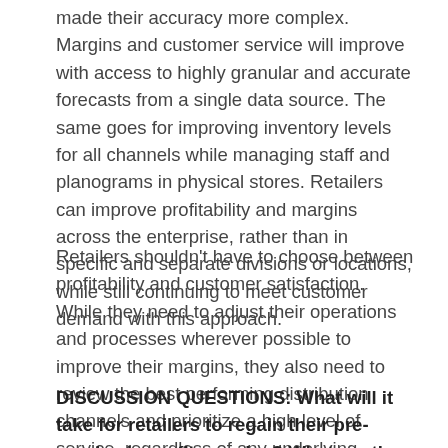made their accuracy more complex. Margins and customer service will improve with access to highly granular and accurate forecasts from a single data source. The same goes for improving inventory levels for all channels while managing staff and planograms in physical stores. Retailers can improve profitability and margins across the enterprise, rather than in specific and separate divisions or locations, while still continuing to meet customer demand with this approach.
Retailers shouldn't have to choose between profitability and customer satisfaction. While they need to adjust their operations and processes wherever possible to improve their margins, they also need to review the best performing distribution channels and prioritize a high level of service, regardless of any underlying changes.
DISCUSSION QUESTIONS: What will it take for retailers to regain their pre-pandemic profit margins? What are the best retail-dominant strategies on their bottom line that